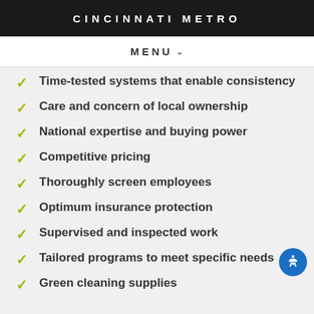CINCINNATI METRO
MENU
Time-tested systems that enable consistency
Care and concern of local ownership
National expertise and buying power
Competitive pricing
Thoroughly screen employees
Optimum insurance protection
Supervised and inspected work
Tailored programs to meet specific needs
Green cleaning supplies